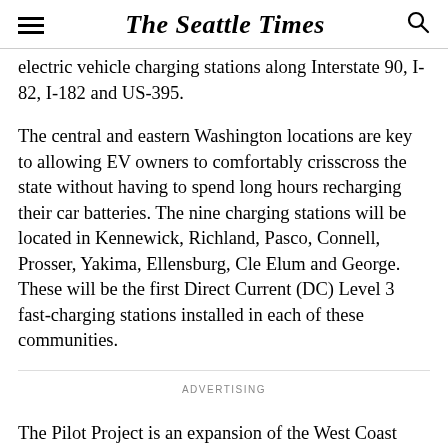The Seattle Times
electric vehicle charging stations along Interstate 90, I-82, I-182 and US-395.
The central and eastern Washington locations are key to allowing EV owners to comfortably crisscross the state without having to spend long hours recharging their car batteries. The nine charging stations will be located in Kennewick, Richland, Pasco, Connell, Prosser, Yakima, Ellensburg, Cle Elum and George. These will be the first Direct Current (DC) Level 3 fast-charging stations installed in each of these communities.
ADVERTISING
The Pilot Project is an expansion of the West Coast Green Highway, which installed DC fast-ch…